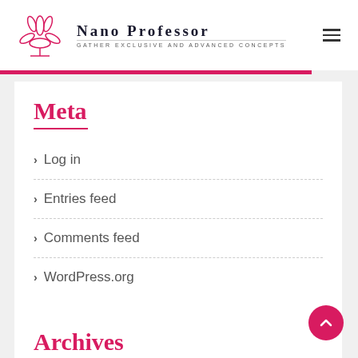Nano Professor — GATHER EXCLUSIVE AND ADVANCED CONCEPTS
Meta
Log in
Entries feed
Comments feed
WordPress.org
Archives